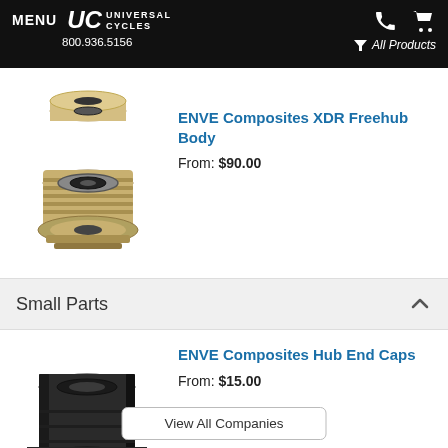MENU | UC UNIVERSAL CYCLES | 800.936.5156 | All Products
[Figure (photo): ENVE Composites XDR Freehub Body product photo showing gold/silver metallic freehub components]
ENVE Composites XDR Freehub Body
From: $90.00
Small Parts
[Figure (photo): ENVE Composites Hub End Caps product photo showing black cylindrical hub end cap marked 25mm]
ENVE Composites Hub End Caps
From: $15.00
View All Companies